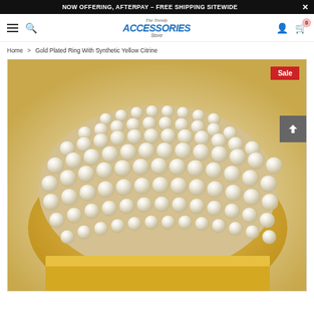NOW OFFERING, AFTERPAY – FREE SHIPPING SITEWIDE
[Figure (logo): The Trendy ACCESSORIES Store logo in blue italic text]
Home > Gold Plated Ring With Synthetic Yellow Citrine
[Figure (photo): Close-up photo of a gold-plated dome ring covered in rows of white/cream pearl beads set in gold prongs, with a Sale badge in the top right corner]